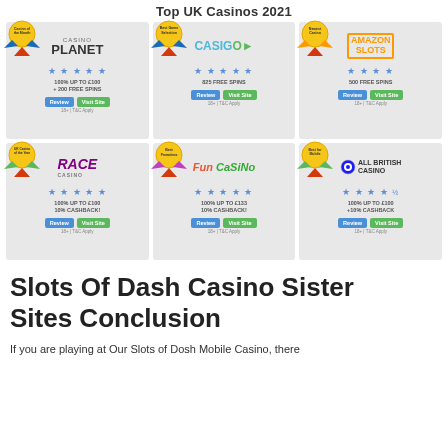Top UK Casinos 2021
[Figure (infographic): Grid of 6 UK casino recommendations for 2021: Casino Planet (Casino of the Month, 5 stars, 100% up to £100 + 200 Free Spins), CasiGo (Best Game Selection, 5 stars, 825 Free Spins), Amazon Slots (Newest Casino, 4 stars, 500 Free Spins), Race Casino (UK Casino of the Year, 5 stars, 100% up to £100 10% Cashback), Fun Casino (Best Promotions, 5 stars, 100% up to £133 10% Cashback), All British Casino (Best for Mobile, 4.5 stars, 100% up to £100 +10% Cashback). Each card has Review and Visit Site buttons and 18+ T&C Apply notice.]
Slots Of Dash Casino Sister Sites Conclusion
If you are playing at Our Slots of Dosh Mobile Casino, there